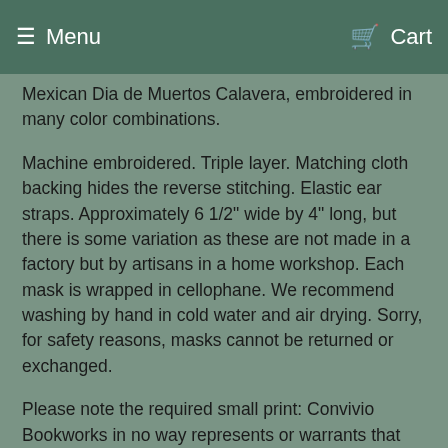Menu    Cart
Mexican Dia de Muertos Calavera, embroidered in many color combinations.
Machine embroidered. Triple layer. Matching cloth backing hides the reverse stitching. Elastic ear straps. Approximately 6 1/2" wide by 4" long, but there is some variation as these are not made in a factory but by artisans in a home workshop. Each mask is wrapped in cellophane. We recommend washing by hand in cold water and air drying. Sorry, for safety reasons, masks cannot be returned or exchanged.
Please note the required small print: Convivio Bookworks in no way represents or warrants that use of these face masks will prevent the wearer from contracting COVID-19 or other viruses or illnesses. This product has not been approved by the Food and Drug Administration and should only be used in compliance with CDC guidelines. This is not an N95